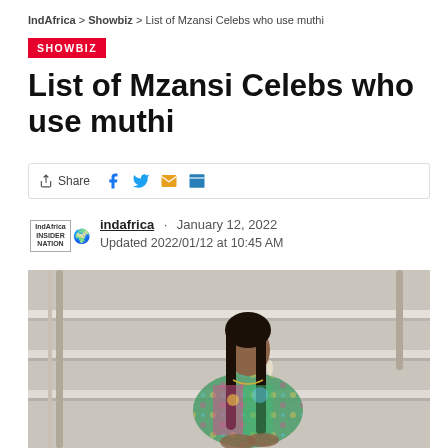IndAfrica > Showbiz > List of Mzansi Celebs who use muthi
SHOWBIZ
List of Mzansi Celebs who use muthi
Share
indafrica · January 12, 2022
Updated 2022/01/12 at 10:45 AM
[Figure (photo): A woman with long black hair wearing a colorful patterned jacket, seated on marble stairs]